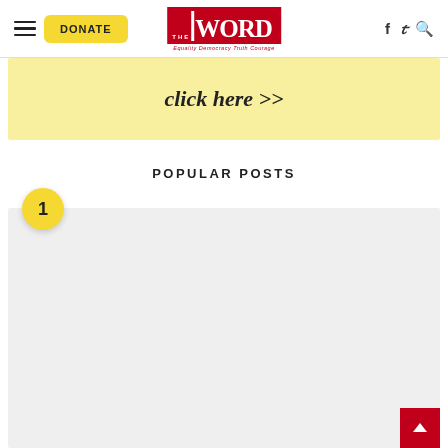The Word — Equality Democracy Truth Courage
click here >>
POPULAR POSTS
[Figure (other): Popular post #1 thumbnail placeholder, light gray background with yellow number badge '1']